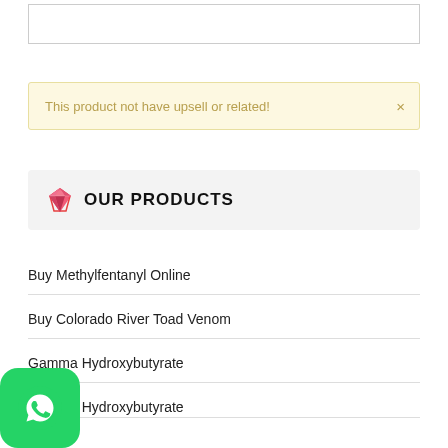[Figure (screenshot): Top empty bordered box element]
This product not have upsell or related!
OUR PRODUCTS
Buy Methylfentanyl Online
Buy Colorado River Toad Venom
Gamma Hydroxybutyrate
Gamma Hydroxybutyrate
Gamma Butyrolactone
cetone Liquid For Sale
[Figure (logo): WhatsApp icon button, green rounded square with white phone/chat icon]